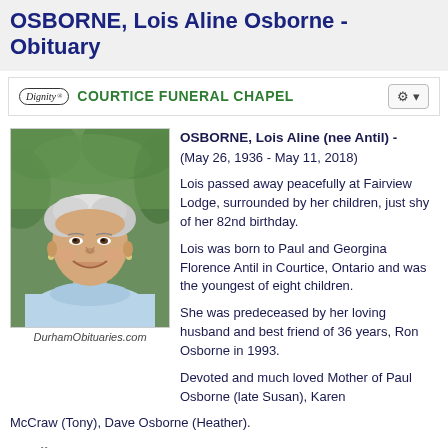OSBORNE, Lois Aline Osborne - Obituary
[Figure (logo): Dignity logo with oval border and Courtice Funeral Chapel name in green]
[Figure (photo): Portrait photo of elderly woman with white hair, smiling, wearing light blue top, outdoors with green foliage background. Caption: DurhamObituaries.com]
DurhamObituaries.com
OSBORNE, Lois Aline (nee Antil) - (May 26, 1936 - May 11, 2018)
Lois passed away peacefully at Fairview Lodge, surrounded by her children, just shy of her 82nd birthday.
Lois was born to Paul and Georgina Florence Antil in Courtice, Ontario and was the youngest of eight children.
She was predeceased by her loving husband and best friend of 36 years, Ron Osborne in 1993.
Devoted and much loved Mother of Paul Osborne (late Susan), Karen McCraw (Tony), Dave Osborne (Heather).
Details
Category: DURHAM Region, ON